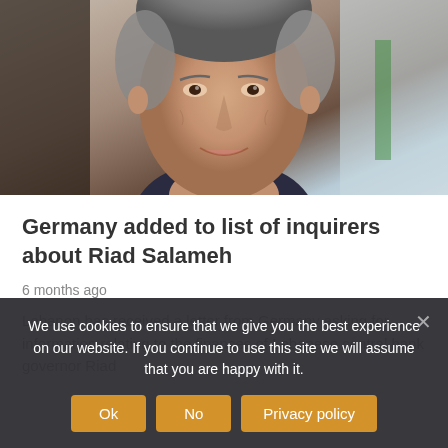[Figure (photo): Close-up photo of an older man with gray hair, smiling, wearing a dark top. Background is blurred with light tones on the right.]
Germany added to list of inquirers about Riad Salameh
6 months ago
Lebanon has received a letter from Germany asking for information relating to the finances of Lebanese central bank governor Riad
We use cookies to ensure that we give you the best experience on our website. If you continue to use this site we will assume that you are happy with it.